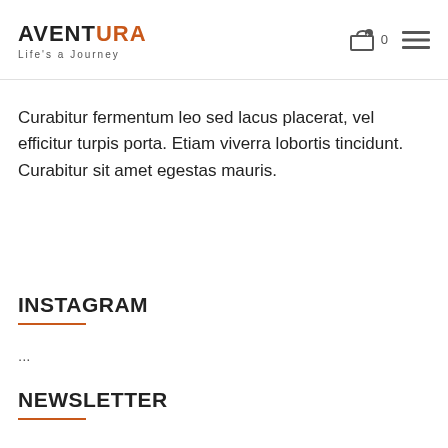AVENTURA Life's a Journey
Curabitur fermentum leo sed lacus placerat, vel efficitur turpis porta. Etiam viverra lobortis tincidunt. Curabitur sit amet egestas mauris.
INSTAGRAM
...
NEWSLETTER